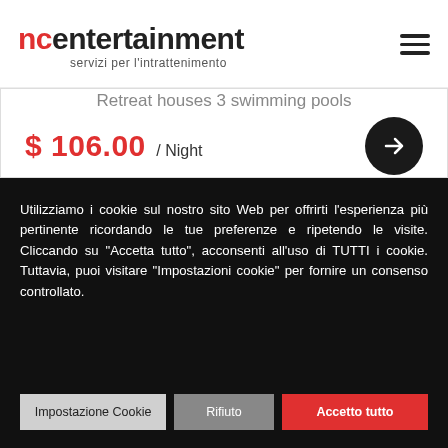ncentertainment – servizi per l'intrattenimento
Retreat houses 3 swimming pools
$ 106.00 / Night
Utilizziamo i cookie sul nostro sito Web per offrirti l'esperienza più pertinente ricordando le tue preferenze e ripetendo le visite. Cliccando su "Accetta tutto", acconsenti all'uso di TUTTI i cookie. Tuttavia, puoi visitare "Impostazioni cookie" per fornire un consenso controllato.
Impostazione Cookie | Rifiuto | Accetto tutto